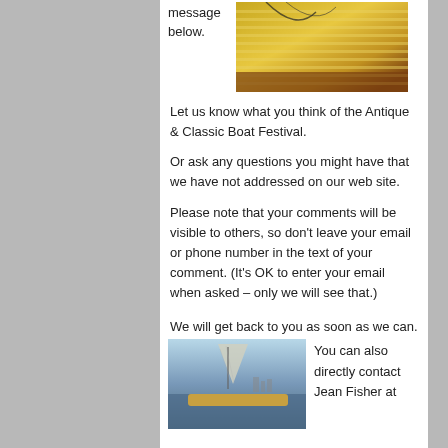message below.
[Figure (photo): Close-up photo of a wooden boat deck with yellow/gold striped wood planking and dark trim, viewed from above.]
Let us know what you think of the Antique & Classic Boat Festival.
Or ask any questions you might have that we have not addressed on our web site.
Please note that your comments will be visible to others, so don't leave your email or phone number in the text of your comment. (It's OK to enter your email when asked – only we will see that.)
We will get back to you as soon as we can.
[Figure (photo): Photo of a sailboat deck with sail, blue water and city skyline in the background.]
You can also directly contact Jean Fisher at